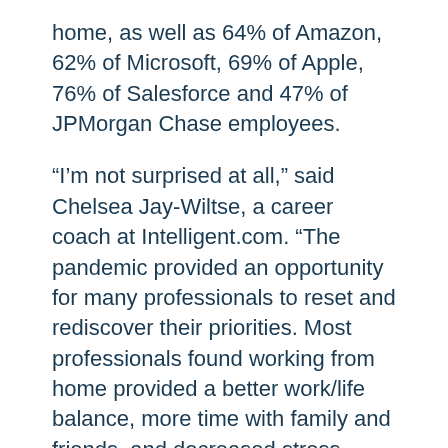home, as well as 64% of Amazon, 62% of Microsoft, 69% of Apple, 76% of Salesforce and 47% of JPMorgan Chase employees.
“I’m not surprised at all,” said Chelsea Jay-Wiltse, a career coach at Intelligent.com. “The pandemic provided an opportunity for many professionals to reset and rediscover their priorities. Most professionals found working from home provided a better work/life balance, more time with family and friends, and decreased stress levels. Utilizing technology to its fullest extent is the way of the future.”
She offers this prediction: “More employers will need to offer flexible scheduling and remote